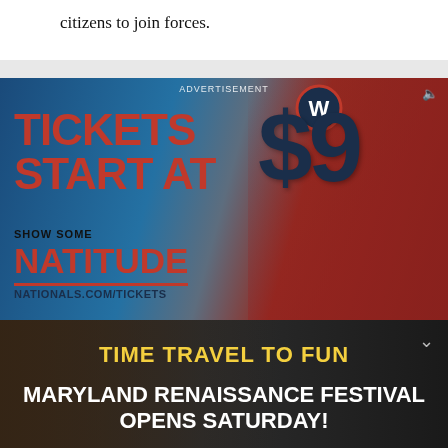citizens to join forces.
[Figure (infographic): Washington Nationals advertisement: 'Tickets Start At $9 — Show Some Natitude — nationals.com/tickets' with fans in red Nationals shirts and the Nationals W logo. 'ADVERTISEMENT' label at top center, mute icon at top right.]
[Figure (infographic): Maryland Renaissance Festival advertisement: 'Time Travel to Fun — Maryland Renaissance Festival Opens Saturday! All Tickets Sold Online' with crowd at festival in background. Chevron/arrow icon at top right.]